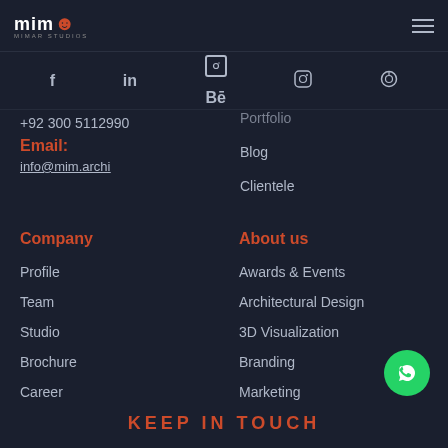MIM Architects
f
in
Be
Instagram
Pinterest
+92 300 5112990
Email:
info@mim.archi
Portfolio
Blog
Clientele
Company
About us
Profile
Awards & Events
Team
Architectural Design
Studio
3D Visualization
Brochure
Branding
Career
Marketing
KEEP IN TOUCH